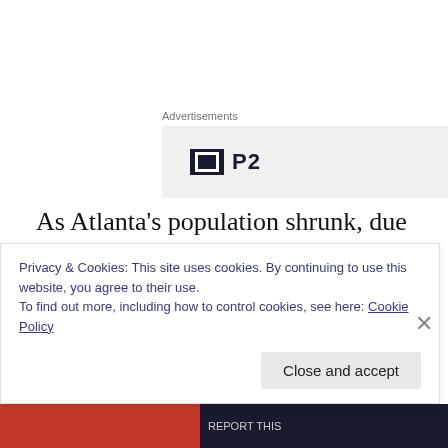Advertisements
[Figure (logo): Advertisement box with P2 logo icon]
As Atlanta’s population shrunk, due to deaths as well as from people who fled the city in the aftermath of the the riot, the City Fathers—always, always keeping an eye on business—vowed to never let anything like this happen again.  They weren’t playing.  They created interracial
Privacy & Cookies: This site uses cookies. By continuing to use this website, you agree to their use.
To find out more, including how to control cookies, see here: Cookie Policy
Close and accept